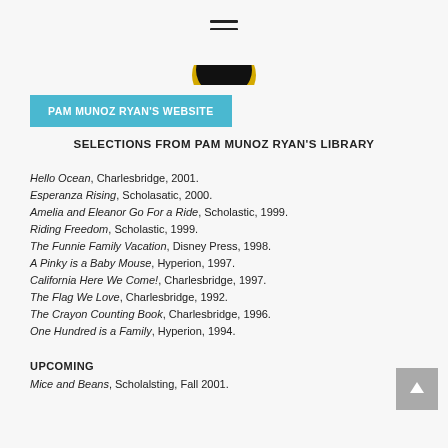≡ (hamburger menu icon)
[Figure (logo): Partial circular logo image with black and yellow colors at top center]
PAM MUNOZ RYAN'S WEBSITE
SELECTIONS FROM PAM MUNOZ RYAN'S LIBRARY
Hello Ocean, Charlesbridge, 2001.
Esperanza Rising, Scholasatic, 2000.
Amelia and Eleanor Go For a Ride, Scholastic, 1999.
Riding Freedom, Scholastic, 1999.
The Funnie Family Vacation, Disney Press, 1998.
A Pinky is a Baby Mouse, Hyperion, 1997.
California Here We Come!, Charlesbridge, 1997.
The Flag We Love, Charlesbridge, 1992.
The Crayon Counting Book, Charlesbridge, 1996.
One Hundred is a Family, Hyperion, 1994.
UPCOMING
Mice and Beans, Scholalsting, Fall 2001.